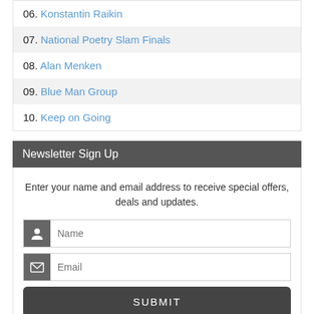06. Konstantin Raikin
07. National Poetry Slam Finals
08. Alan Menken
09. Blue Man Group
10. Keep on Going
Newsletter Sign Up
Enter your name and email address to receive special offers, deals and updates.